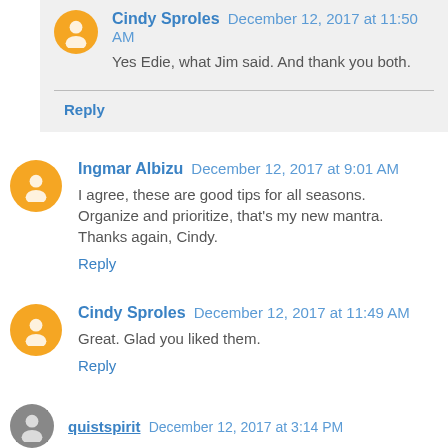Cindy Sproles December 12, 2017 at 11:50 AM
Yes Edie, what Jim said. And thank you both.
Reply
Ingmar Albizu December 12, 2017 at 9:01 AM
I agree, these are good tips for all seasons. Organize and prioritize, that's my new mantra. Thanks again, Cindy.
Reply
Cindy Sproles December 12, 2017 at 11:49 AM
Great. Glad you liked them.
Reply
quistspirit December 12, 2017 at 3:14 PM